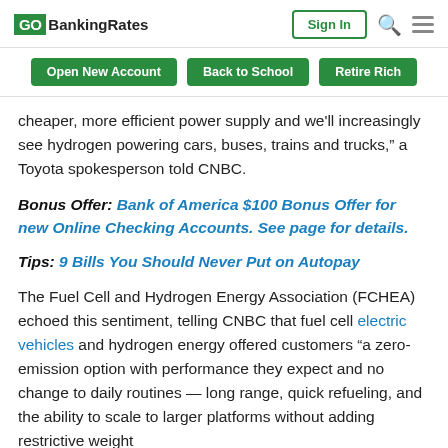GOBankingRates | Sign In | [search] [menu]
Open New Account | Back to School | Retire Rich
cheaper, more efficient power supply and we'll increasingly see hydrogen powering cars, buses, trains and trucks," a Toyota spokesperson told CNBC.
Bonus Offer: Bank of America $100 Bonus Offer for new Online Checking Accounts. See page for details.
Tips: 9 Bills You Should Never Put on Autopay
The Fuel Cell and Hydrogen Energy Association (FCHEA) echoed this sentiment, telling CNBC that fuel cell electric vehicles and hydrogen energy offered customers "a zero-emission option with performance they expect and no change to daily routines — long range, quick refueling, and the ability to scale to larger platforms without adding restrictive weight